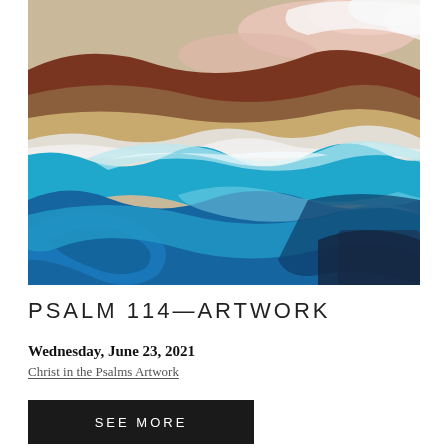[Figure (illustration): A painting depicting a large ocean wave with swirling blue water in the foreground and layered earthy tones — brown, tan, and pink — forming hills or mountains in the background against a sandy/neutral sky. The wave curls with white foam at its crest. The style is expressive and painterly.]
PSALM 114—ARTWORK
Wednesday, June 23, 2021
Christ in the Psalms Artwork
SEE MORE